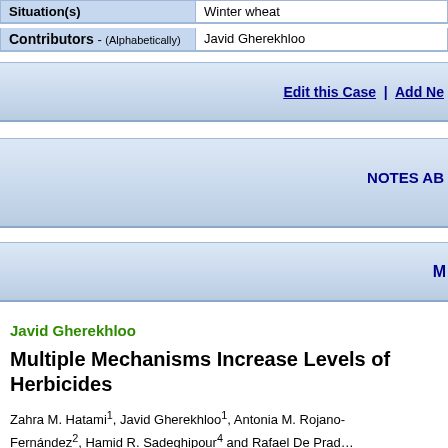| Situation(s) | Winter wheat |
| --- | --- |
| Contributors - (Alphabetically) | Javid Gherekhloo |
| --- | --- |
Edit this Case | Add Ne...
NOTES AB...
M...
Javid Gherekhloo
Multiple Mechanisms Increase Levels of Herbicides
Zahra M. Hatami1, Javid Gherekhloo1, Antonia M. Rojano-Fernández2, Hamid R. Sadeghipour4 and Rafael De Prad...
*1 Department of Agronomy, Gorgan University of Agricult... ofAgricultural Chemistry and Soil Science, University of Co... LaOrden" Valdesequera, Badajoz, Spain, 4 Department of...
Rapistrum rugosum (turnip weed) is a common weed of w... methyl (TM), a sulfonylurea (SU) belonging to the acetol...